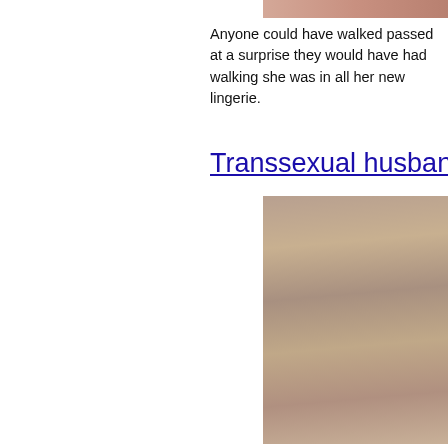[Figure (photo): Partial cropped photo at top right, cropped off page edge]
Anyone could have walked passed at a surprise they would have had walking she was in all her new lingerie.
Transsexual husband
[Figure (photo): Photo showing two people on a bed]
The ecstasy was slowly building. He c Nate pulled out and let his third load o
Sasha skype x18sexs